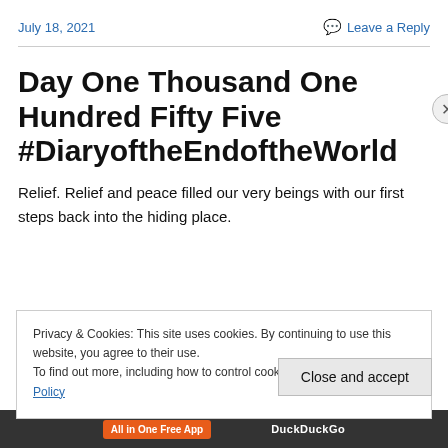July 18, 2021
Leave a Reply
Day One Thousand One Hundred Fifty Five #DiaryoftheEndoftheWorld
Relief. Relief and peace filled our very beings with our first steps back into the hiding place.
Privacy & Cookies: This site uses cookies. By continuing to use this website, you agree to their use.
To find out more, including how to control cookies, see here: Cookie Policy
Close and accept